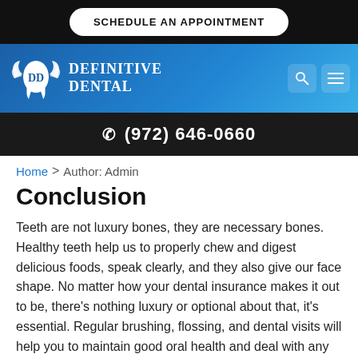SCHEDULE AN APPOINTMENT
[Figure (logo): Definitive Dental logo with winged tooth icon and text 'Definitive Dental' on blue gradient background, with search and menu icons]
(972) 646-0660
Home > Author: Admin
Conclusion
Teeth are not luxury bones, they are necessary bones. Healthy teeth help us to properly chew and digest delicious foods, speak clearly, and they also give our face shape. No matter how your dental insurance makes it out to be, there’s nothing luxury or optional about that, it’s essential. Regular brushing, flossing, and dental visits will help you to maintain good oral health and deal with any